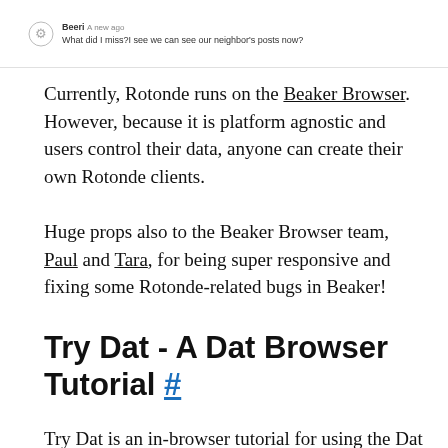Beeri  A new ago
What did I miss?I see we can see our neighbor's posts now?
Currently, Rotonde runs on the Beaker Browser. However, because it is platform agnostic and users control their data, anyone can create their own Rotonde clients.
Huge props also to the Beaker Browser team, Paul and Tara, for being super responsive and fixing some Rotonde-related bugs in Beaker!
Try Dat - A Dat Browser Tutorial #
Try Dat is an in-browser tutorial for using the Dat